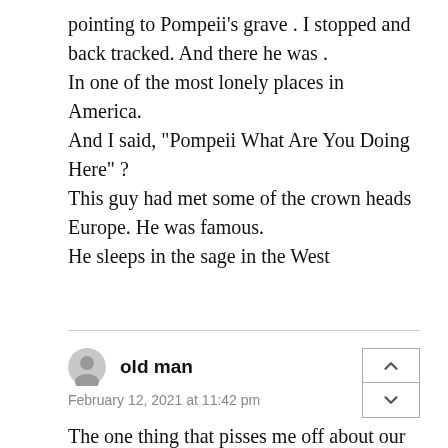pointing to Pompeii's grave .  I stopped and back tracked.  And there he was . In one of the most lonely places in America. And I said,  "Pompeii What Are You Doing Here" ? This guy had met some of the crown heads Europe.  He was famous. He sleeps in the sage in the West
old man
February 12, 2021 at 11:42 pm
The one thing that pisses me off about our age